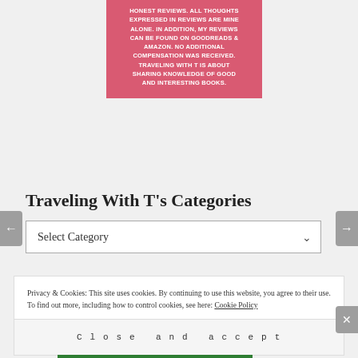HONEST REVIEWS. ALL THOUGHTS EXPRESSED IN REVIEWS ARE MINE ALONE. IN ADDITION, MY REVIEWS CAN BE FOUND ON GOODREADS & AMAZON. NO ADDITIONAL COMPENSATION WAS RECEIVED. TRAVELING WITH T IS ABOUT SHARING KNOWLEDGE OF GOOD AND INTERESTING BOOKS.
Traveling With T's Categories
Select Category
Privacy & Cookies: This site uses cookies. By continuing to use this website, you agree to their use. To find out more, including how to control cookies, see here: Cookie Policy
Close and accept